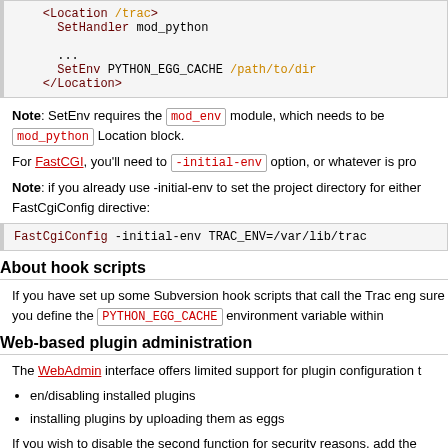[Figure (screenshot): Code block showing SetHandler mod_python, ..., SetEnv PYTHON_EGG_CACHE /path/to/dir, </Location>]
Note: SetEnv requires the mod_env module, which needs to be mod_python Location block.
For FastCGI, you'll need to -initial-env option, or whatever is pro
Note: if you already use -initial-env to set the project directory for either FastCgiConfig directive:
[Figure (screenshot): Code block showing: FastCgiConfig -initial-env TRAC_ENV=/var/lib/trac]
About hook scripts
If you have set up some Subversion hook scripts that call the Trac eng sure you define the PYTHON_EGG_CACHE environment variable within
Web-based plugin administration
The WebAdmin interface offers limited support for plugin configuration t
en/disabling installed plugins
installing plugins by uploading them as eggs
If you wish to disable the second function for security reasons, add the